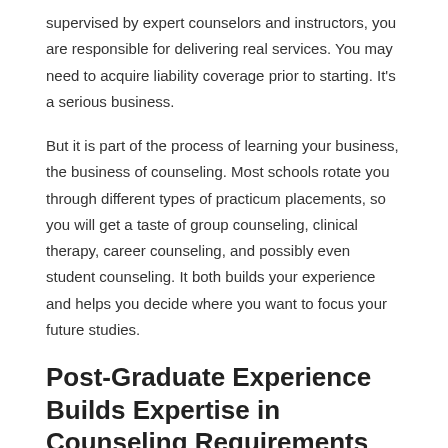supervised by expert counselors and instructors, you are responsible for delivering real services. You may need to acquire liability coverage prior to starting. It's a serious business.
But it is part of the process of learning your business, the business of counseling. Most schools rotate you through different types of practicum placements, so you will get a taste of group counseling, clinical therapy, career counseling, and possibly even student counseling. It both builds your experience and helps you decide where you want to focus your future studies.
Post-Graduate Experience Builds Expertise in Counseling Requirements
After you earn your master's degree is when the field experience really starts. Most states require 2,000 h